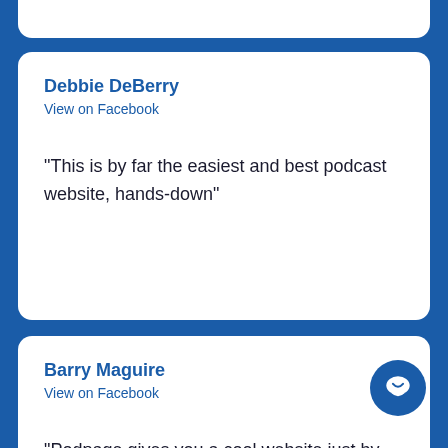Debbie DeBerry
View on Facebook
"This is by far the easiest and best podcast website, hands-down"
Barry Maguire
View on Facebook
"Podpage gives you a cool website just by taking your RSS feed. They impaort your artwork a... reviews. they also have a lot of templates and it